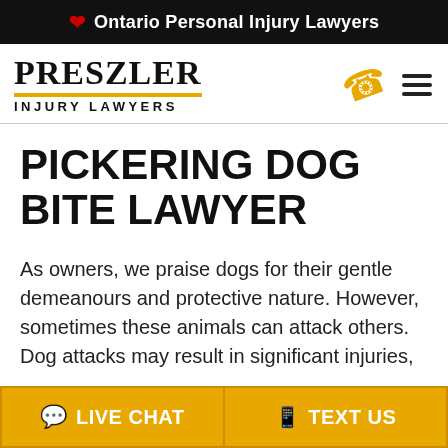Ontario Personal Injury Lawyers
[Figure (logo): Preszler Injury Lawyers logo with gold underline]
PICKERING DOG BITE LAWYER
As owners, we praise dogs for their gentle demeanours and protective nature. However, sometimes these animals can attack others. Dog attacks may result in significant injuries,